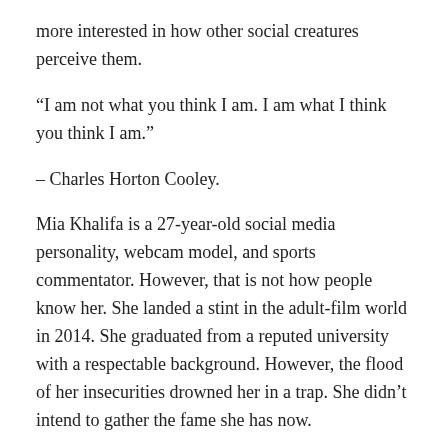more interested in how other social creatures perceive them.
“I am not what you think I am. I am what I think you think I am.”
– Charles Horton Cooley.
Mia Khalifa is a 27-year-old social media personality, webcam model, and sports commentator. However, that is not how people know her. She landed a stint in the adult-film world in 2014. She graduated from a reputed university with a respectable background. However, the flood of her insecurities drowned her in a trap. She didn’t intend to gather the fame she has now.